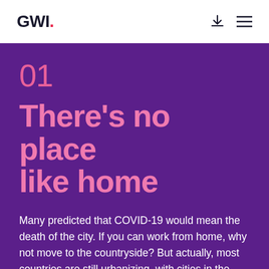GWI.
01
There’s no place like home
Many predicted that COVID-19 would mean the death of the city. If you can work from home, why not move to the countryside? But actually, most countries are still urbanizing, with cities in the West evolving, not dying. Night-time and service economies have been badly hit, but city dwellers will come to value other aspects of their